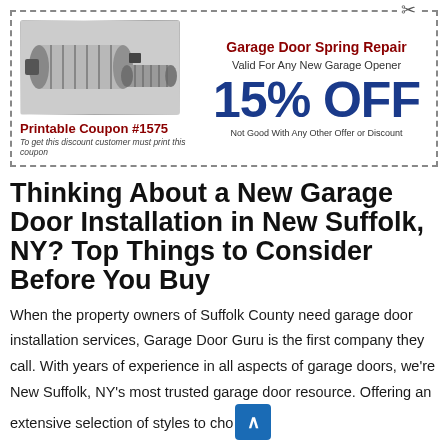[Figure (infographic): Printable coupon for Garage Door Spring Repair. Shows garage door springs image on left, coupon number #1575 below image, service title and 15% OFF discount on right, with validity and disclaimer text.]
Thinking About a New Garage Door Installation in New Suffolk, NY? Top Things to Consider Before You Buy
When the property owners of Suffolk County need garage door installation services, Garage Door Guru is the first company they call. With years of experience in all aspects of garage doors, we're New Suffolk, NY's most trusted garage door resource. Offering an extensive selection of styles to choose from and a team of highly trained technicians, we'll help you find a door that's perfect for your garage, your home, and your